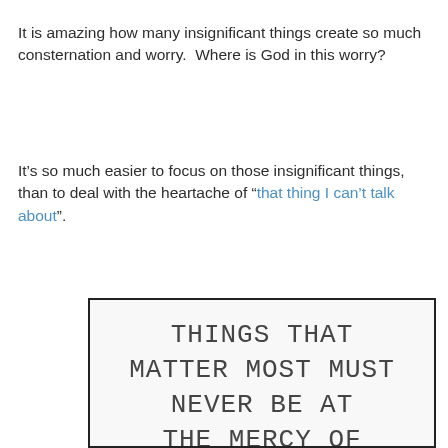It is amazing how many insignificant things create so much consternation and worry.  Where is God in this worry?
It’s so much easier to focus on those insignificant things, than to deal with the heartache of “that thing I can’t talk about”.
[Figure (illustration): Handwritten-style text in a black-bordered box reading: THINGS THAT MATTER MOST MUST NEVER BE AT THE MERCY OF]